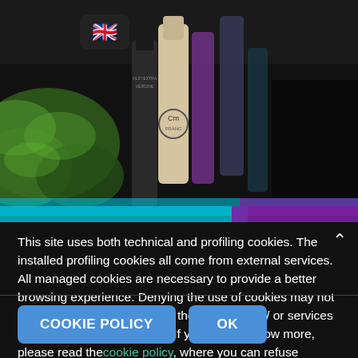[Figure (photo): Background photo of cosmetic/olive oil product bottles on a dark table with green plant leaves visible. A flag badge with the UK flag emoji is in the upper left area.]
This site uses both technical and profiling cookies. The installed profiling cookies all come from external services. All managed cookies are necessary to provide a better browsing experience. Denying the use of cookies may not be able to take advantage of the content and / or services offered by Centumbrie.com. If you want to know more, please read thecookie policy, where you can refuse consent to the installation of any cookie. By clicking on OK or continuing to browse, you consent to the use of cookies.
COOKIE POLICY
OK